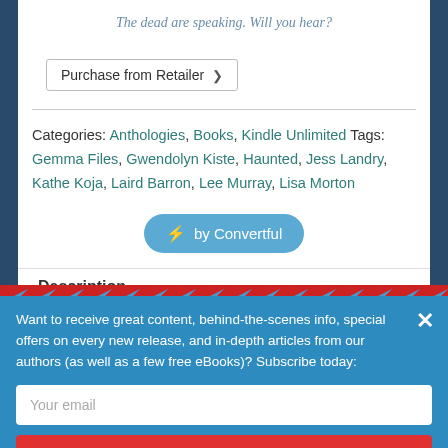The dead are speaking. Will you hear?
Purchase from Retailer
Categories: Anthologies, Books, Kindle Unlimited Tags: Gemma Files, Gwendolyn Kiste, Haunted, Jess Landry, Kathe Koja, Laird Barron, Lee Murray, Lisa Morton
⚡ by Convertful
Description
Want to receive great content, behind-the-scenes info, special offers on every new release, and in-depth articles from our authors (as well as a few free eBooks)? Subscribe today:
Your email
SUBSCRIBE